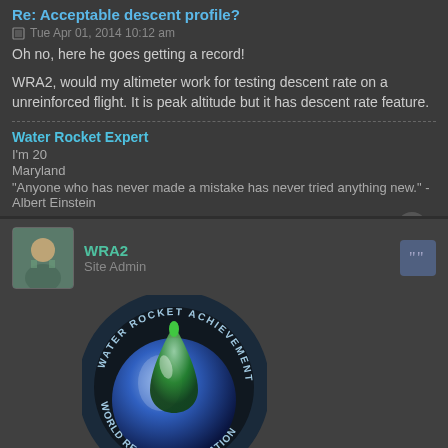Re: Acceptable descent profile?
Tue Apr 01, 2014 10:12 am
Oh no, here he goes getting a record!
WRA2, would my altimeter work for testing descent rate on a unreinforced flight. It is peak altitude but it has descent rate feature.
Water Rocket Expert
I'm 20
Maryland
"Anyone who has never made a mistake has never tried anything new." -Albert Einstein
WRA2
Site Admin
[Figure (logo): Water Rocket Achievement World Record Association circular logo with rocket and water droplet design]
Re: Acceptable descent profile?
Tue Apr 01, 2014 4:18 pm